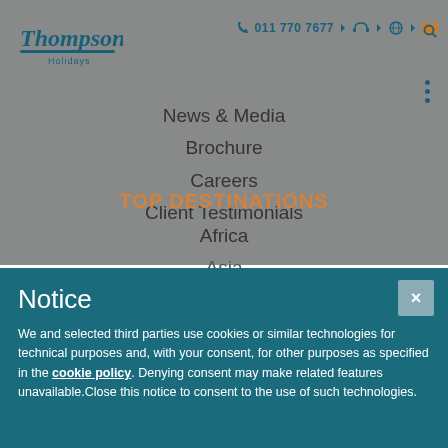[Figure (logo): Thompsons Holidays logo in teal/blue italic serif font with underline and 'Holidays' subtext]
011 770 7677
News & Media
Brochure
Careers
Client Testimonials
TOP DESTINATIONS
Africa
Asia
Notice
We and selected third parties use cookies or similar technologies for technical purposes and, with your consent, for other purposes as specified in the cookie policy. Denying consent may make related features unavailable.Close this notice to consent to the use of such technologies.